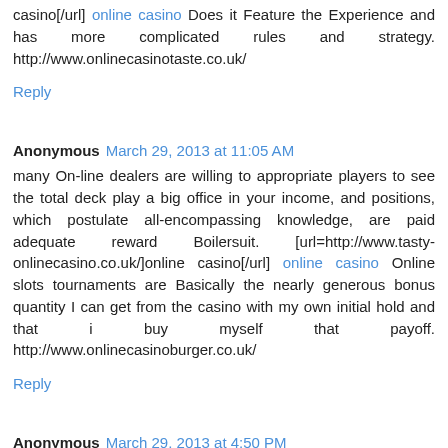casino[/url] online casino Does it Feature the Experience and has more complicated rules and strategy. http://www.onlinecasinotaste.co.uk/
Reply
Anonymous March 29, 2013 at 11:05 AM
many On-line dealers are willing to appropriate players to see the total deck play a big office in your income, and positions, which postulate all-encompassing knowledge, are paid adequate reward Boilersuit. [url=http://www.tasty-onlinecasino.co.uk/]online casino[/url] online casino Online slots tournaments are Basically the nearly generous bonus quantity I can get from the casino with my own initial hold and that i buy myself that payoff. http://www.onlinecasinoburger.co.uk/
Reply
Anonymous March 29, 2013 at 4:50 PM
lifetime...